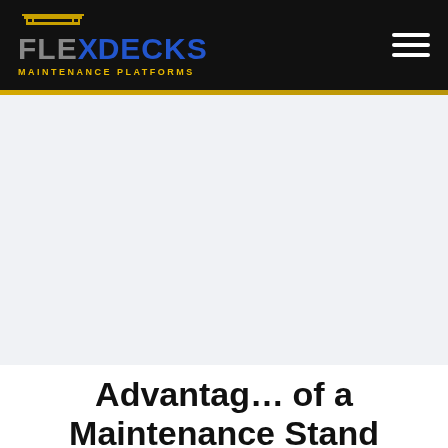[Figure (logo): FlexDecks Maintenance Platforms logo with yellow/grey FLEX and blue DECKS text on black header background]
[Figure (illustration): Hero image area showing a light grey/blue tinted background, likely displaying maintenance platform imagery]
Advantages of a Maintenance Stand
[Figure (screenshot): Live chat popup overlay showing 'We're Online! How may I help you today?' with a blue chat button icon]